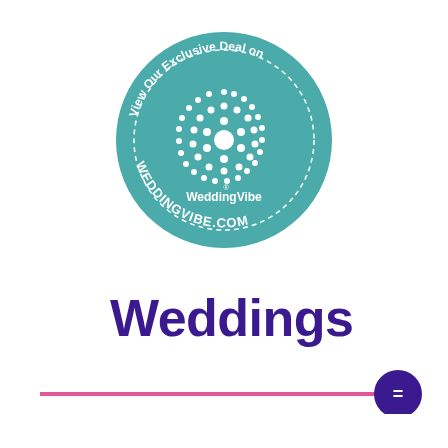[Figure (logo): WeddingVibe circular badge/seal in teal color. Text 'View Our Exclusive Deal on' curves around the top. 'WeddingVibe' text in the center with a decorative dot pattern (mandala/sunburst). 'WEDDINGVIBE.COM' text curves along the bottom. Dashed circle border inside the badge.]
Weddings
[Figure (illustration): A horizontal pink/magenta line with a dark purple circular chat bubble icon at the right end containing an equals sign (=).]